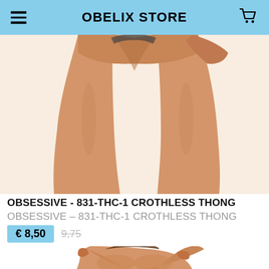OBELIX STORE
[Figure (photo): Product photo showing lower torso and legs of a model wearing a thong, tan skin, white background]
OBSESSIVE - 831-THC-1 CROTHLESS THONG
OBSESSIVE – 831-THC-1 CROTHLESS THONG
€ 8,50  9,75
[Figure (photo): Product photo showing upper torso of a model with arms crossed over chest, tan skin, white background]